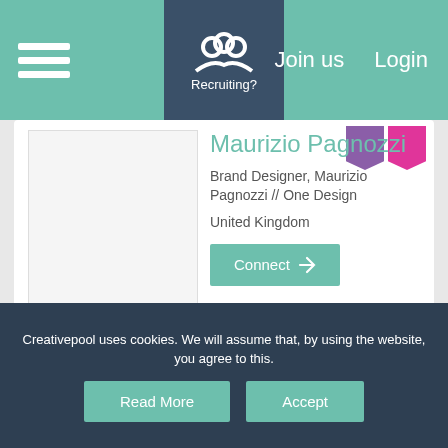Recruiting? | Join us | Login
Maurizio Pagnozzi
Brand Designer, Maurizio Pagnozzi // One Design
United Kingdom
Connect
Creative Recruitment
United Kingdom
Follow
Creativepool uses cookies. We will assume that, by using the website, you agree to this.
Read More
Accept